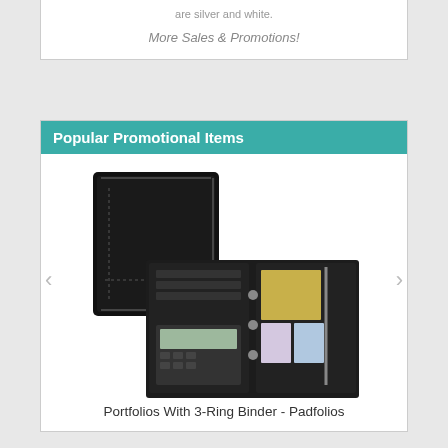are silver and white.
More Sales & Promotions!
Popular Promotional Items
[Figure (photo): Two views of a black leather portfolio with 3-ring binder: one closed showing the zippered exterior, and one open showing interior pockets, ring binder, calculator, and organizational compartments.]
Portfolios With 3-Ring Binder - Padfolios